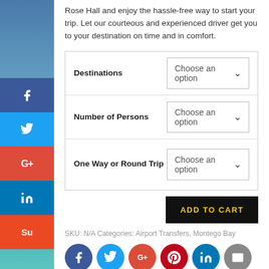Rose Hall and enjoy the hassle-free way to start your trip. Let our courteous and experienced driver get you to your destination on time and in comfort.
| Field | Input |
| --- | --- |
| Destinations | Choose an option |
| Number of Persons | Choose an option |
| One Way or Round Trip | Choose an option |
ADD TO CART
SKU: N/A Categories: Airport Transfers, Montego Bay